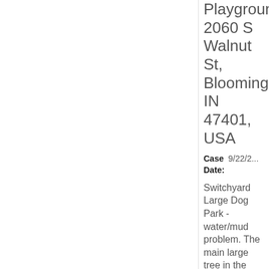Playground 2060 S Walnut St, Bloomington, IN 47401, USA
Case Date: 9/22/2...
Switchyard Large Dog Park - water/mud problem. The main large tree in the center of the Large Dog Park is a pit...